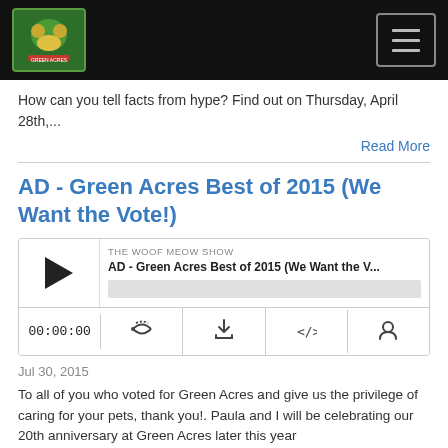THE WOOF MEOW SHOW — Navigation bar with logo and hamburger menu
How can you tell facts from hype? Find out on Thursday, April 28th,...
Read More
AD - Green Acres Best of 2015 (We Want the Vote!)
[Figure (other): Podcast audio player widget showing: THE WOOF MEOW SHOW / AD - Green Acres Best of 2015 (We Want the V... / progress bar / controls: 00:00:00, RSS icon, download icon, embed icon, user icon]
Jul 30, 2015
To all of you who voted for Green Acres and give us the privilege of caring for your pets, thank you!. Paula and I will be celebrating our 20th anniversary at Green Acres later this year...